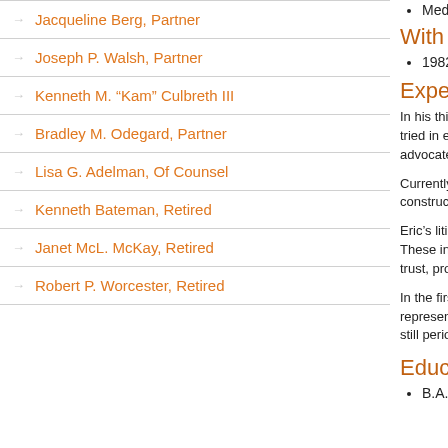Jacqueline Berg, Partner
Joseph P. Walsh, Partner
Kenneth M. "Kam" Culbreth III
Bradley M. Odegard, Partner
Lisa G. Adelman, Of Counsel
Kenneth Bateman, Retired
Janet McL. McKay, Retired
Robert P. Worcester, Retired
Mediation & Arbi...
With Sommer Ud...
1982
Experience
In his thirty eight years... tried in excess of thirty... advocate, mediator an...
Currently, about twent... construction, persona...
Eric's litigation practice... These include constru... trust, product liability a...
In the first fifteen years... represented a local ba... still periodically repres...
Education
B.A., Stanford U...